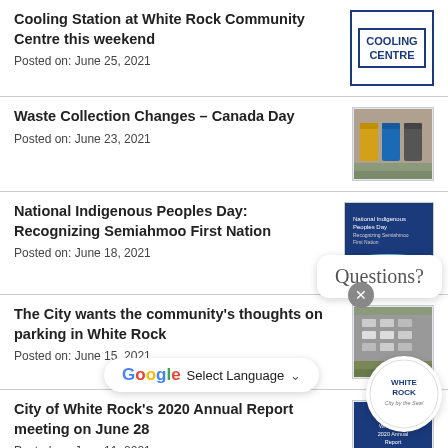Cooling Station at White Rock Community Centre this weekend
Posted on: June 25, 2021
[Figure (illustration): Cooling Centre sign with blue border and bold text]
Waste Collection Changes – Canada Day
Posted on: June 23, 2021
[Figure (photo): Waste collection bins — yellow, blue, and grey bins outdoors]
National Indigenous Peoples Day: Recognizing Semiahmoo First Nation
Posted on: June 18, 2021
[Figure (illustration): National Indigenous Peoples Day event flyer with White Rock branding on dark blue background]
The City wants the community's thoughts on parking in White Rock
Posted on: June 15, 2021
[Figure (photo): Aerial view of parking lot in White Rock]
City of White Rock's 2020 Annual Report meeting on June 28
Posted on: June 11, 2021
[Figure (illustration): City of White Rock 2020 Annual Report cover on dark blue background]
Residents invited to share their pandemic stories at COVID-19 Town Hall
[Figure (illustration): COVID-19 Town Hall sign on dark blue background]